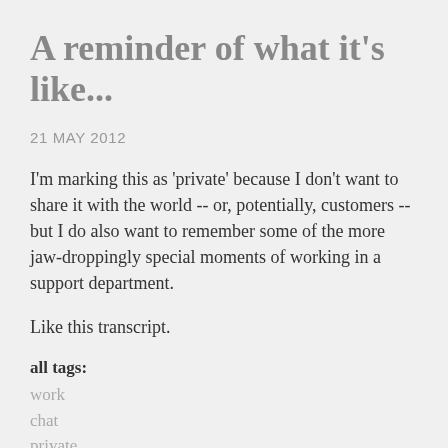A reminder of what it's like...
21 MAY 2012
I'm marking this as 'private' because I don't want to share it with the world -- or, potentially, customers -- but I do also want to remember some of the more jaw-droppingly special moments of working in a support department.
Like this transcript.
all tags:
work
chat
private